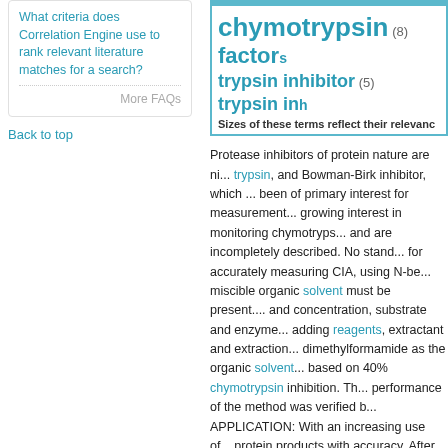What criteria does Correlation Engine use to rank relevant literature matches for a search?
More FAQs
Back to top
[Figure (infographic): Tag cloud showing chymotrypsin (8), factors, trypsin inhibitor (5), trypsin in... with note: Sizes of these terms reflect their relevance]
Protease inhibitors of protein nature are ni... trypsin, and Bowman-Birk inhibitor, which ... been of primary interest for measurement... growing interest in monitoring chymotryps... and are incompletely described. No stand... for accurately measuring CIA, using N-be... miscible organic solvent must be present.... and concentration, substrate and enzyme... adding reagents, extractant and extraction... dimethylformamide as the organic solvent... based on 40% chymotrypsin inhibition. Th... performance of the method was verified b... APPLICATION: With an increasing use of... protein products with accuracy. After thoro... activity in various protein products was de... can also be used for measuring chymotry... in the USA.
Citation
Keshun Liu. Method development and opt... science. 2022 May;87(5):2018-2033